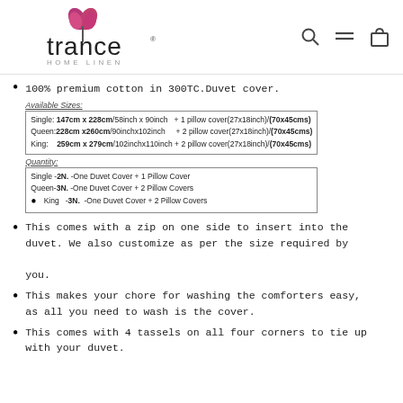[Figure (logo): Trance Home Linen logo with pink flower/butterfly icon and brand name]
100% premium cotton in 300TC.Duvet cover.
| Available Sizes: |
| --- |
| Single: 147cm x 228cm/58inch x 90inch  + 1 pillow cover(27x18inch)/(70x45cms) |
| Queen:228cm x260cm/90inchx102inch   + 2 pillow cover(27x18inch)/(70x45cms) |
| King:   259cm x 279cm/102inchx110inch + 2 pillow cover(27x18inch)/(70x45cms) |
| Quantity: |
| --- |
| Single -2N. -One Duvet Cover + 1 Pillow Cover |
| Queen-3N. -One Duvet Cover + 2 Pillow Covers |
| King  -3N.  -One Duvet Cover + 2 Pillow Covers |
This comes with a zip on one side to insert into the duvet. We also customize as per the size required by you.
This makes your chore for washing the comforters easy, as all you need to wash is the cover.
This comes with 4 tassels on all four corners to tie up with your duvet.